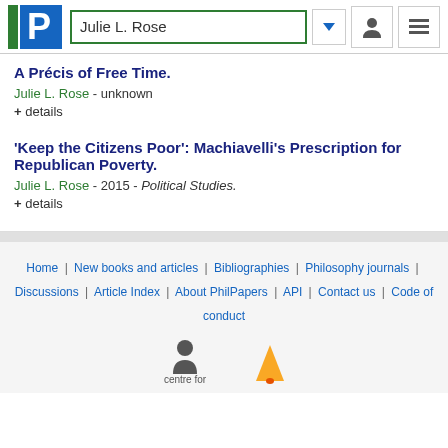Julie L. Rose
A Précis of Free Time.
Julie L. Rose - unknown
+ details
'Keep the Citizens Poor': Machiavelli's Prescription for Republican Poverty.
Julie L. Rose - 2015 - Political Studies.
+ details
Home | New books and articles | Bibliographies | Philosophy journals | Discussions | Article Index | About PhilPapers | API | Contact us | Code of conduct